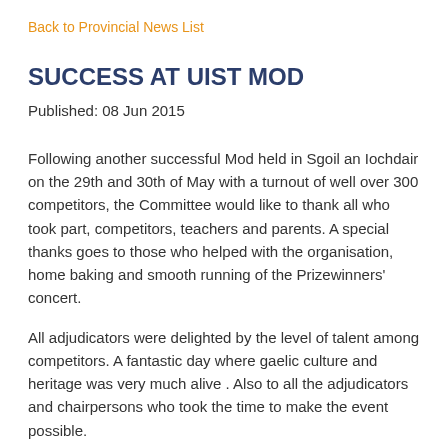Back to Provincial News List
SUCCESS AT UIST MOD
Published: 08 Jun 2015
Following another successful Mod held in Sgoil an Iochdair on the 29th and 30th of May with a turnout of well over 300 competitors, the Committee would like to thank all who took part, competitors, teachers and parents. A special thanks goes to those who helped with the organisation, home baking and smooth running of the Prizewinners' concert.
All adjudicators were delighted by the level of talent among competitors. A fantastic day where gaelic culture and heritage was very much alive . Also to all the adjudicators and chairpersons who took the time to make the event possible.
A special thanks to all staff at Sgoil an Iochdair for their continued